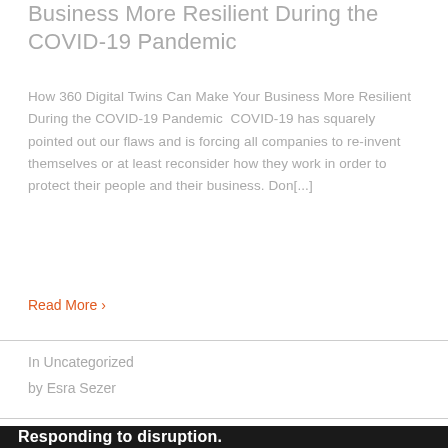Business More Resilient During the COVID-19 Pandemic
How 360 Digital Twins Can Make Your Business More Resilient During the COVID-19 Pandemic  COVID-19 has squarely pointed out our flaws and is forcing all companies to re-invent themselves or at least reconsider how they work in order to protect their people and their business. Don[...]
Read More >
In Uncategorized
by Esra Sezer
Responding to disruption.